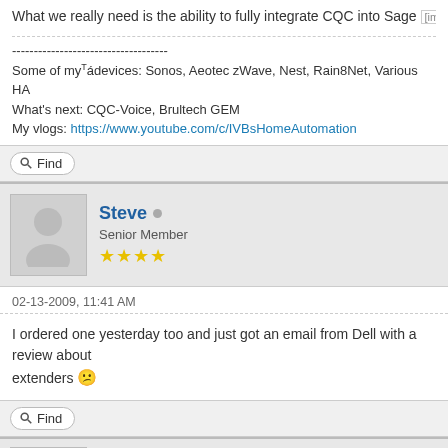What we really need is the ability to fully integrate CQC into Sage [image]
------------------------------------
Some of my devices: Sonos, Aeotec zWave, Nest, Rain8Net, Various HA
What's next: CQC-Voice, Brultech GEM
My vlogs: https://www.youtube.com/c/IVBsHomeAutomation
Find
Steve • Senior Member ★★★★
02-13-2009, 11:41 AM
I ordered one yesterday too and just got an email from Dell with a review about extenders 😕
Find
SamVimes2 •